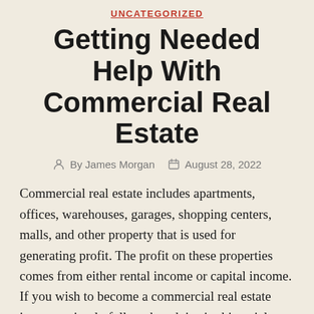UNCATEGORIZED
Getting Needed Help With Commercial Real Estate
By James Morgan   August 28, 2022
Commercial real estate includes apartments, offices, warehouses, garages, shopping centers, malls, and other property that is used for generating profit. The profit on these properties comes from either rental income or capital income. If you wish to become a commercial real estate investor, simply follow the advice in this article.
Be patient when handling a deal with a commercial